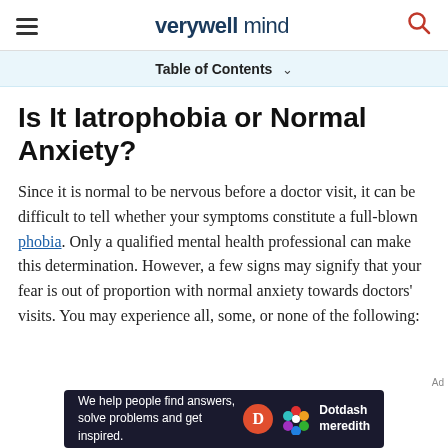verywell mind
Table of Contents
Is It Iatrophobia or Normal Anxiety?
Since it is normal to be nervous before a doctor visit, it can be difficult to tell whether your symptoms constitute a full-blown phobia. Only a qualified mental health professional can make this determination. However, a few signs may signify that your fear is out of proportion with normal anxiety towards doctors' visits. You may experience all, some, or none of the following:
[Figure (other): Dotdash Meredith advertisement banner: 'We help people find answers, solve problems and get inspired.' with Dotdash and Meredith logos.]